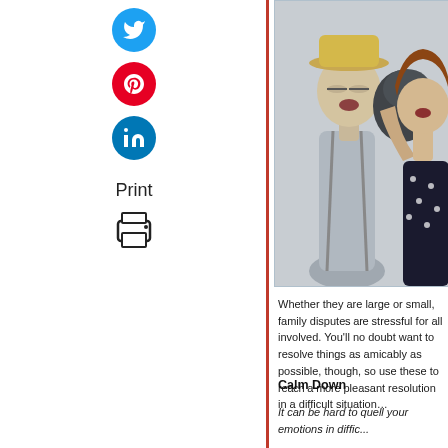[Figure (photo): Social sharing sidebar with Twitter (blue), Pinterest (red), and LinkedIn (blue) icon circles, a red vertical divider line, and a Print label with printer icon below]
[Figure (photo): Photo of a man in a hat and grey shirt being punched in the face by a woman in a black polka dot dress wearing boxing gloves, on a light background]
Whether they are large or small, family disputes are stressful for all involved. You'll no doubt want to resolve things as amicably as possible, though, so use these to reach a more pleasant resolution in a difficult situation…
Calm Down
It can be hard to quell your emotions in diffic...